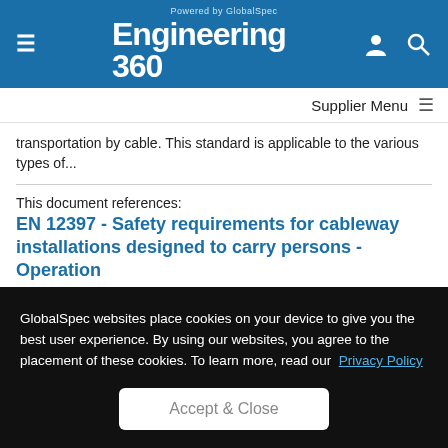Engineering 360 — Powered by GlobalSpec
transportation by cable. This standard is applicable to the various types of...
This document references:
EN 12397 - Safety requirements for cableway installations designed to carry persons - Operation
Published by CEN on March 1, 2017
This European Standard specifies the safety requirements applicable to the operation of installations for passenger...
GlobalSpec websites place cookies on your device to give you the best user experience. By using our websites, you agree to the placement of these cookies. To learn more, read our Privacy Policy
Accept & Close